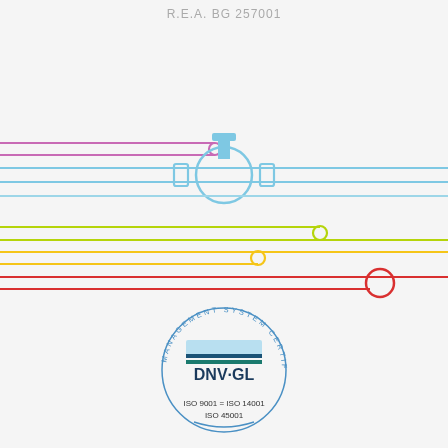R.E.A. BG 257001
[Figure (illustration): Engineering diagram showing colored pipes (blue, purple, light blue, yellow-green, yellow, red) with a blue valve/fitting in the center, and a DNV-GL Management System Certification logo (ISO 9001, ISO 14001, ISO 45001) at the bottom.]